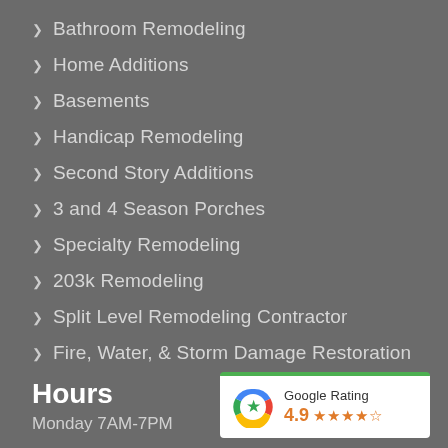Bathroom Remodeling
Home Additions
Basements
Handicap Remodeling
Second Story Additions
3 and 4 Season Porches
Specialty Remodeling
203k Remodeling
Split Level Remodeling Contractor
Fire, Water, & Storm Damage Restoration
Hours
Monday 7AM-7PM
[Figure (infographic): Google Rating badge showing 4.9 stars with Google logo]